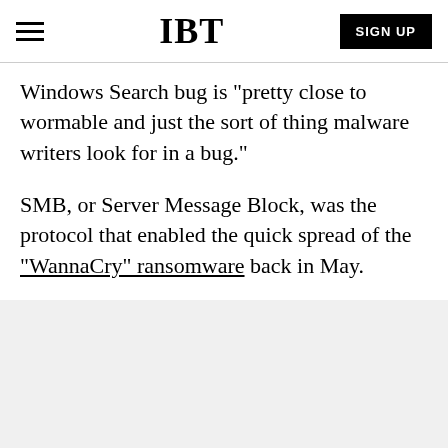IBT | SIGN UP
Windows Search bug is "pretty close to wormable and just the sort of thing malware writers look for in a bug."
SMB, or Server Message Block, was the protocol that enabled the quick spread of the "WannaCry" ransomware back in May.